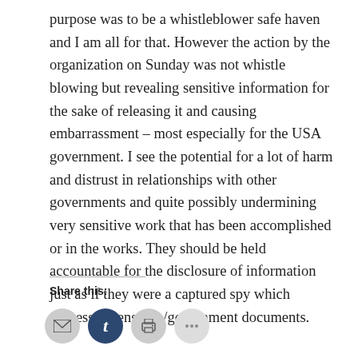purpose was to be a whistleblower safe haven and I am all for that. However the action by the organization on Sunday was not whistle blowing but revealing sensitive information for the sake of releasing it and causing embarrassment – most especially for the USA government. I see the potential for a lot of harm and distrust in relationships with other governments and quite possibly undermining very sensitive work that has been accomplished or in the works. They should be held accountable for the disclosure of information just as if they were a captured spy which possessed sensitive/government documents.
Share this: